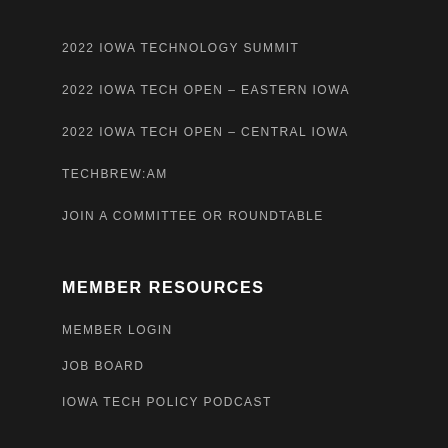2022 IOWA TECHNOLOGY SUMMIT
2022 IOWA TECH OPEN – EASTERN IOWA
2022 IOWA TECH OPEN – CENTRAL IOWA
TECHBREW:AM
JOIN A COMMITTEE OR ROUNDTABLE
MEMBER RESOURCES
MEMBER LOGIN
JOB BOARD
IOWA TECH POLICY PODCAST
CATALYSTS SERIES
WE ARE IOWA TECH VIDEO SERIES
SMART SECURITY VIDEO SERIES